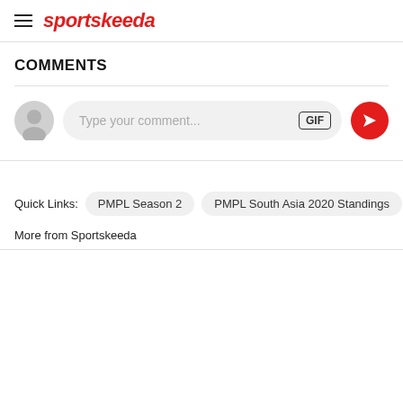sportskeeda
COMMENTS
Type your comment...
Quick Links: PMPL Season 2  PMPL South Asia 2020 Standings  PMPL
More from Sportskeeda